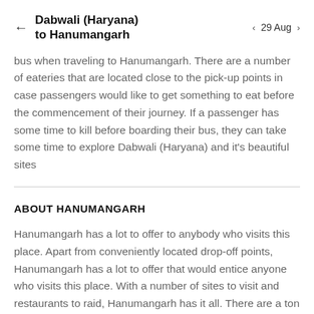Dabwali (Haryana) to Hanumangarh  ← 29 Aug →
bus when traveling to Hanumangarh. There are a number of eateries that are located close to the pick-up points in case passengers would like to get something to eat before the commencement of their journey. If a passenger has some time to kill before boarding their bus, they can take some time to explore Dabwali (Haryana) and it's beautiful sites
ABOUT HANUMANGARH
Hanumangarh has a lot to offer to anybody who visits this place. Apart from conveniently located drop-off points, Hanumangarh has a lot to offer that would entice anyone who visits this place. With a number of sites to visit and restaurants to raid, Hanumangarh has it all. There are a ton of buses that run through Hanumangarh and this ensures that Hanumangarh is well-connected to the rest